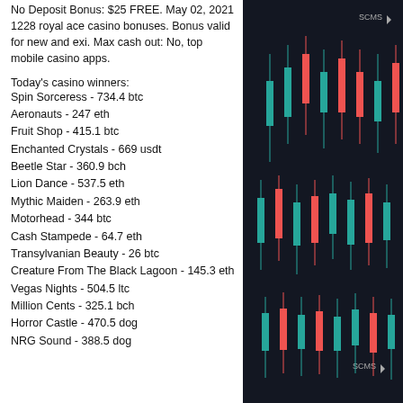No Deposit Bonus: $25 FREE. May 02, 2021 1228 royal ace casino bonuses. Bonus valid for new and exi. Max cash out: No, top mobile casino apps.
Today's casino winners:
Spin Sorceress - 734.4 btc
Aeronauts - 247 eth
Fruit Shop - 415.1 btc
Enchanted Crystals - 669 usdt
Beetle Star - 360.9 bch
Lion Dance - 537.5 eth
Mythic Maiden - 263.9 eth
Motorhead - 344 btc
Cash Stampede - 64.7 eth
Transylvanian Beauty - 26 btc
Creature From The Black Lagoon - 145.3 eth
Vegas Nights - 504.5 ltc
Million Cents - 325.1 bch
Horror Castle - 470.5 dog
NRG Sound - 388.5 dog
[Figure (screenshot): Dark background candlestick trading chart with red and green candles, with ticker label visible]